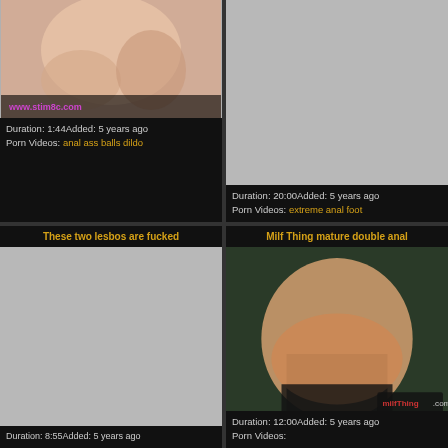[Figure (screenshot): Top-left video thumbnail cell with a photo, watermark www.stim8c.com, duration and tags info]
Duration: 1:44Added: 5 years ago
Porn Videos: anal ass balls dildo
[Figure (screenshot): Top-right video thumbnail cell with gray placeholder, duration and tags info]
Duration: 20:00Added: 5 years ago
Porn Videos: extreme anal foot
[Figure (screenshot): Bottom-left video thumbnail with title These two lesbos are fucked, gray placeholder, duration 8:55]
Duration: 8:55Added: 5 years ago
[Figure (screenshot): Bottom-right video thumbnail with title Milf Thing mature double anal, photo of woman, duration 12:00]
Duration: 12:00Added: 5 years ago
Porn Videos: